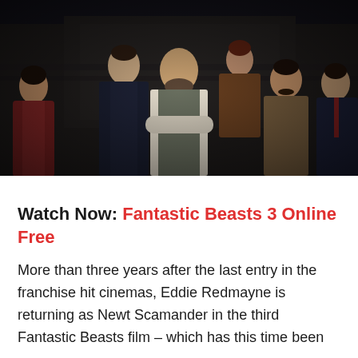[Figure (photo): A movie promotional still showing six cast members of Fantastic Beasts 3, dressed in 1920s period costumes, standing together in a grand interior setting. Characters include a Black woman in a red coat, a tall man in dark suit, a bearded man in vest with crossed arms at center, a woman in brown dress in back, a man with mustache in brown coat, and Eddie Redmayne on the right.]
Watch Now: Fantastic Beasts 3 Online Free
More than three years after the last entry in the franchise hit cinemas, Eddie Redmayne is returning as Newt Scamander in the third Fantastic Beasts film – which has this time been